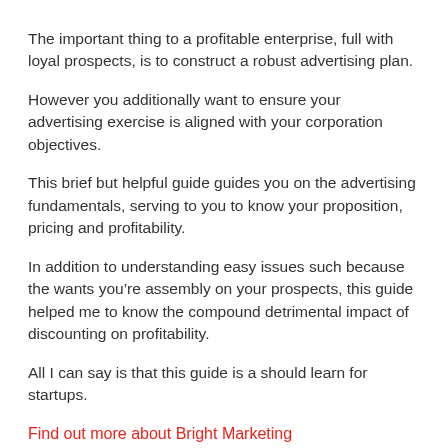The important thing to a profitable enterprise, full with loyal prospects, is to construct a robust advertising plan.
However you additionally want to ensure your advertising exercise is aligned with your corporation objectives.
This brief but helpful guide guides you on the advertising fundamentals, serving to you to know your proposition, pricing and profitability.
In addition to understanding easy issues such because the wants you’re assembly on your prospects, this guide helped me to know the compound detrimental impact of discounting on profitability.
All I can say is that this guide is a should learn for startups.
Find out more about Bright Marketing